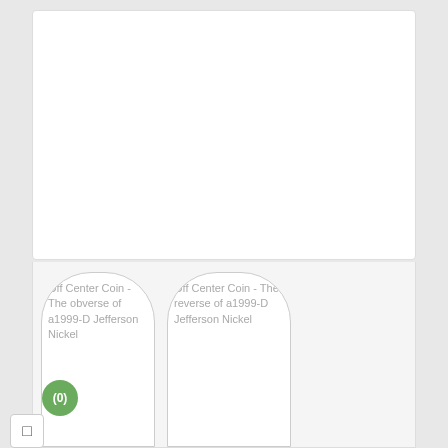[Figure (photo): White card area at top of page, empty/blank content area]
[Figure (photo): Off Center Coin - The obverse of a 1999-D Jefferson Nickel, shown as broken image placeholder text in a rounded-top card widget]
[Figure (photo): Off Center Coin - The reverse of a 1999-D Jefferson Nickel, shown as broken image placeholder text in a rounded-top card widget]